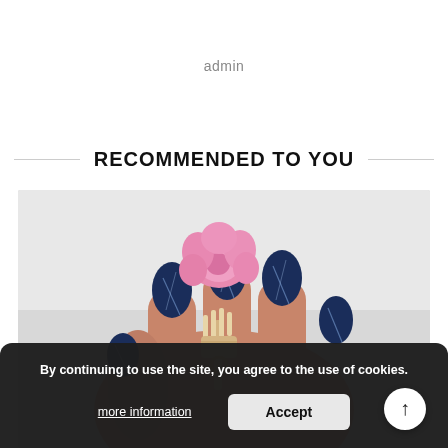admin
RECOMMENDED TO YOU
[Figure (photo): A hand with dark blue marble-patterned stiletto nails holding a gold skeleton hand enamel pin that holds a pink flower/rose bloom on top.]
By continuing to use the site, you agree to the use of cookies.
more information
Accept